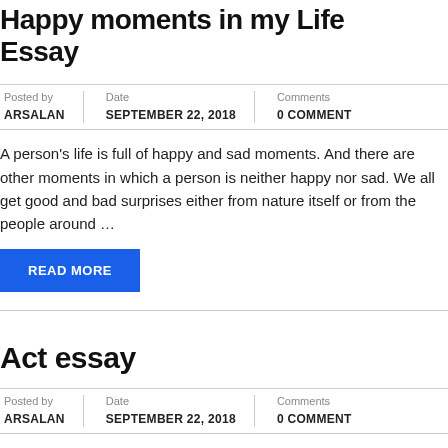Happy moments in my Life Essay
Posted by ARSALAN | Date SEPTEMBER 22, 2018 | Comments 0 COMMENT
A person's life is full of happy and sad moments. And there are other moments in which a person is neither happy nor sad. We all get good and bad surprises either from nature itself or from the people around …
READ MORE
Act essay
Posted by ARSALAN | Date SEPTEMBER 22, 2018 | Comments 0 COMMENT